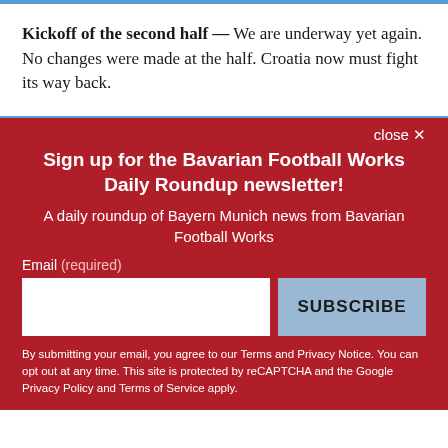Kickoff of the second half — We are underway yet again. No changes were made at the half. Croatia now must fight its way back.
close ✕
Sign up for the Bavarian Football Works Daily Roundup newsletter!
A daily roundup of Bayern Munich news from Bavarian Football Works
Email (required)
SUBSCRIBE
By submitting your email, you agree to our Terms and Privacy Notice. You can opt out at any time. This site is protected by reCAPTCHA and the Google Privacy Policy and Terms of Service apply.